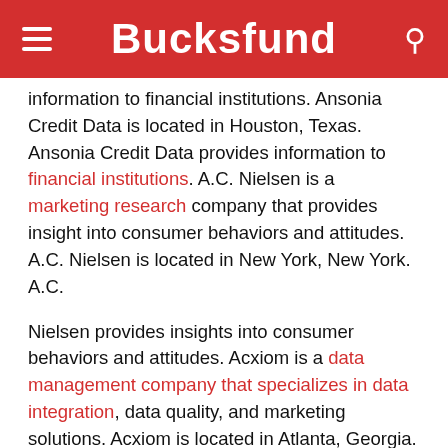Bucksfund
information to financial institutions. Ansonia Credit Data is located in Houston, Texas. Ansonia Credit Data provides information to financial institutions. A.C. Nielsen is a marketing research company that provides insight into consumer behaviors and attitudes. A.C. Nielsen is located in New York, New York. A.C.
Nielsen provides insights into consumer behaviors and attitudes. Acxiom is a data management company that specializes in data integration, data quality, and marketing solutions. Acxiom is located in Atlanta, Georgia. Acxiom specializes in data integration, data quality, and marketing solutions.
How long has Ansonia Credit Data been in business?
Ansonia Credit Data is a financial data analysis company that has